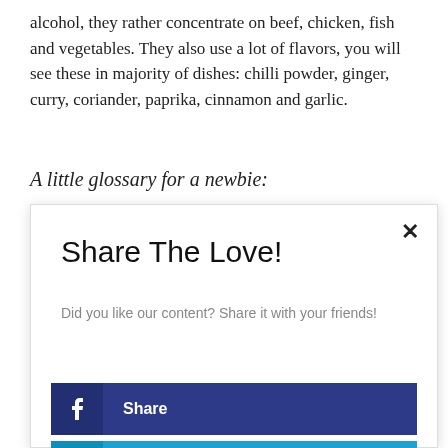alcohol, they rather concentrate on beef, chicken, fish and vegetables. They also use a lot of flavors, you will see these in majority of dishes: chilli powder, ginger, curry, coriander, paprika, cinnamon and garlic.
A little glossary for a newbie:
[Figure (screenshot): A modal popup with 'Share The Love!' heading and social sharing buttons for Facebook (Share), Twitter (Tweet), Pinterest (Pin), and LinkedIn (Share), with a close (x) button in the top right corner.]